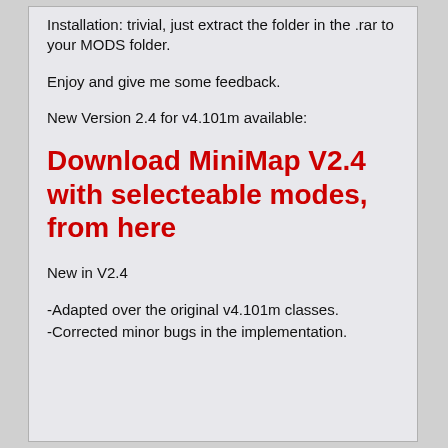Installation: trivial, just extract the folder in the .rar to your MODS folder.
Enjoy and give me some feedback.
New Version 2.4 for v4.101m available:
Download MiniMap V2.4 with selecteable modes, from here
New in V2.4
-Adapted over the original v4.101m classes.
-Corrected minor bugs in the implementation.